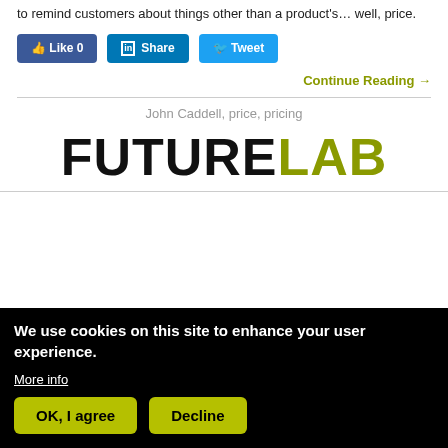to remind customers about things other than a product's… well, price.
[Figure (screenshot): Social sharing buttons: Like 0 (Facebook), Share (LinkedIn), Tweet (Twitter)]
Continue Reading →
John Caddell, price, pricing
[Figure (logo): FUTURELAB logo with FUTURE in black and LAB in olive/yellow-green]
We use cookies on this site to enhance your user experience. More info
OK, I agree  Decline